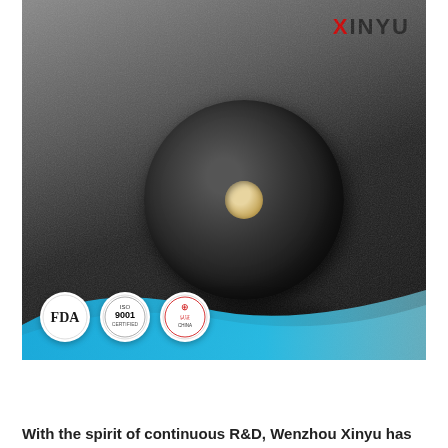[Figure (photo): A large roll of black nonwoven fabric material photographed close-up, showing the cylindrical roll with layers of material visible and a cardboard core in the center. The bottom of the image features a blue wave graphic design element. Three certification badges are visible at the bottom left: FDA, ISO 9001, and a Chinese certification mark. The XINYU logo appears in the top right corner of the image.]
With the spirit of continuous R&D, Wenzhou Xinyu has